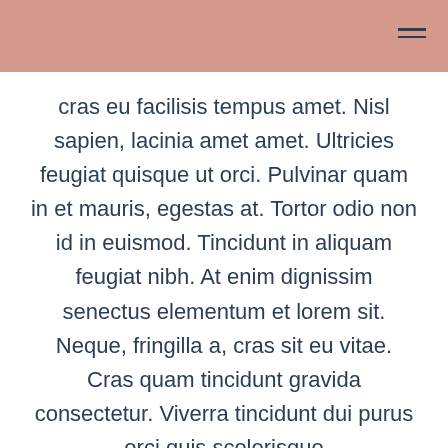cras eu facilisis tempus amet. Nisl sapien, lacinia amet amet. Ultricies feugiat quisque ut orci. Pulvinar quam in et mauris, egestas at. Tortor odio non id in euismod. Tincidunt in aliquam feugiat nibh. At enim dignissim senectus elementum et lorem sit. Neque, fringilla a, cras sit eu vitae. Cras quam tincidunt gravida consectetur. Viverra tincidunt dui purus orci quis scelerisque